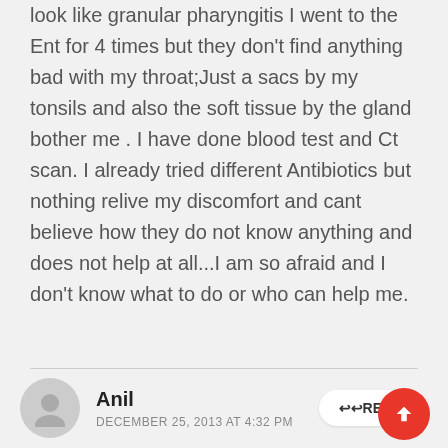look like granular pharyngitis I went to the Ent for 4 times but they don't find anything bad with my throat;Just a sacs by my tonsils and also the soft tissue by the gland bother me . I have done blood test and Ct scan. I already tried different Antibiotics but nothing relive my discomfort and cant believe how they do not know anything and does not help at all...I am so afraid and I don't know what to do or who can help me.
Anil
DECEMBER 25, 2013 AT 4:32 PM
My son who is 12 yrs old was suffering fr acute dry coughing. I have visited the ENT